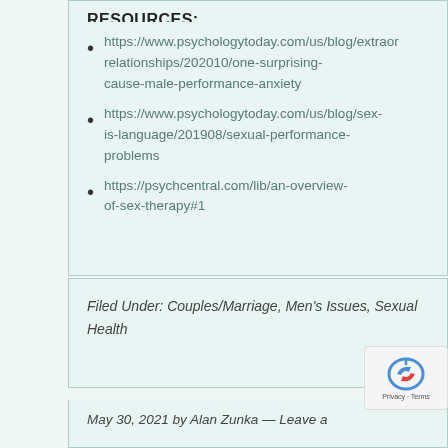RESOURCES:
https://www.psychologytoday.com/us/blog/extraordinary-relationships/202010/one-surprising-cause-male-performance-anxiety
https://www.psychologytoday.com/us/blog/sex-is-language/201908/sexual-performance-problems
https://psychcentral.com/lib/an-overview-of-sex-therapy#1
Filed Under: Couples/Marriage, Men's Issues, Sexual Health
May 30, 2021 by Alan Zunka — Leave a